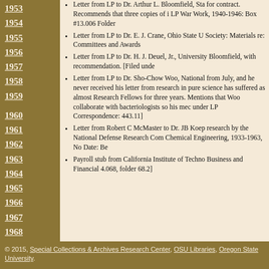Letter from LP to Dr. Arthur L. Bloomfield, Sta... for contract. Recommends that three copies of i... LP War Work, 1940-1946: Box #13.006 Folder...
Letter from LP to Dr. E. J. Crane, Ohio State U... Society: Materials re: Committees and Awards ...
Letter from LP to Dr. H. J. Deuel, Jr., University... Bloomfield, with recommendation. [Filed unde...
Letter from LP to Dr. Sho-Chow Woo, National... from July, and he never received his letter from... research in pure science has suffered as almost ... Research Fellows for three years. Mentions tha... Woo collaborate with bacteriologists so his mec... under LP Correspondence: 443.11]
Letter from Robert C McMaster to Dr. JB Koep... research by the National Defense Research Com... Chemical Engineering, 1933-1963, No Date: Be...
Payroll stub from California Institute of Techno... Business and Financial 4.068, folder 68.2]
© 2015, Special Collections & Archives Research Center, OSU Libraries, Oregon State University.